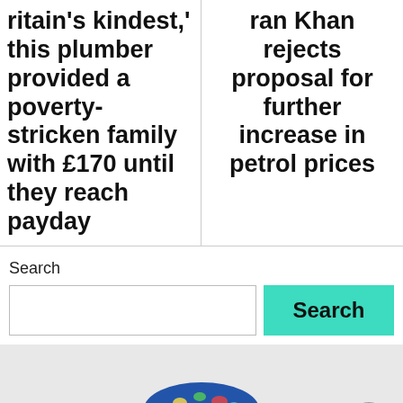ritain's kindest,' this plumber provided a poverty-stricken family with £170 until they reach payday
ran Khan rejects proposal for further increase in petrol prices
Search
[Figure (photo): A person wearing a colorful blue patterned headband/headwrap and sunglasses, partial face visible from nose up]
[Figure (other): Scroll to top circular button with upward arrow]